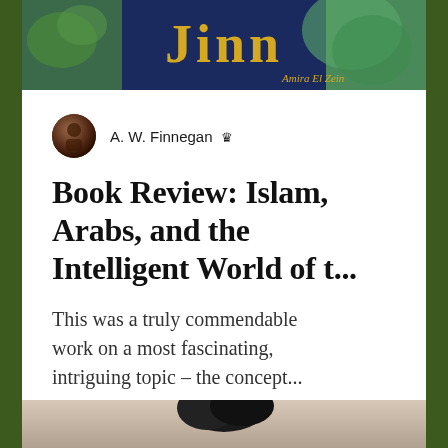[Figure (photo): Top portion of a book cover for 'Jinn' by Amira El Zein, showing decorative illustration with dark blue and green tones, large stylized title text in gold]
A. W. Finnegan
Book Review: Islam, Arabs, and the Intelligent World of t...
This was a truly commendable work on a most fascinating, intriguing topic – the concept...
[Figure (photo): Bottom portion showing top of a person's dark hair against a light background]